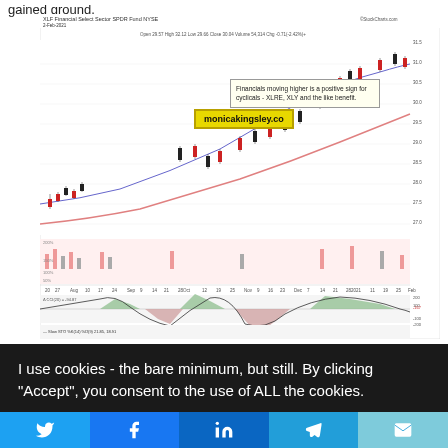gained ground.
[Figure (continuous-plot): XLF Financial Select Sector SPDR Fund NYSE candlestick chart from approximately August 2020 to February 2021. Shows daily price action with moving averages (MA50 in blue, MA200 in red/pink), volume bars, CCI oscillator panel, and Slow Stochastic panel. Annotation box reads: 'Financials moving higher is a positive sign for cyclicals - XLRE, XLY and the like benefit.' Watermark: monicakingsley.co. Open 29.57 High 32.12 Low 29.66 Close 30.04 Volume 54,314 Chg -0.71(-2.42%)+]
I use cookies - the bare minimum, but still. By clicking "Accept", you consent to the use of ALL the cookies.
Do not sell my personal information